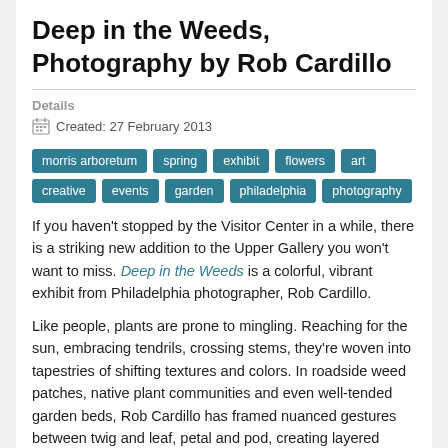Deep in the Weeds, Photography by Rob Cardillo
Details
Created: 27 February 2013
morris arboretum
spring
exhibit
flowers
art
creative
events
garden
philadelphia
photography
If you haven't stopped by the Visitor Center in a while, there is a striking new addition to the Upper Gallery you won't want to miss. Deep in the Weeds is a colorful, vibrant exhibit from Philadelphia photographer, Rob Cardillo.
Like people, plants are prone to mingling. Reaching for the sun, embracing tendrils, crossing stems, they're woven into tapestries of shifting textures and colors. In roadside weed patches, native plant communities and even well-tended garden beds, Rob Cardillo has framed nuanced gestures between twig and leaf, petal and pod, creating layered images with a photosynthetic pulse. Through his lens, we see abstract beauty in the interplay of shapes, color and light, yet the images remain fully grounded and invite us to commune with nature's silent social network.